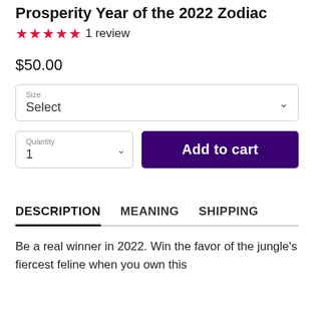Prosperity Year of the 2022 Zodiac
★★★★★ 1 review
$50.00
Size
Select
Quantity
1
Add to cart
DESCRIPTION
MEANING
SHIPPING
Be a real winner in 2022. Win the favor of the jungle's fiercest feline when you own this